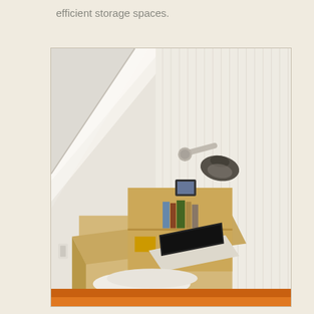efficient storage spaces.
[Figure (photo): Interior photo of a small nook or compact bedroom/study space. A wall-mounted industrial-style lamp (chrome arm with dark shade) is mounted on white beadboard paneling. Below, a light wood built-in desk unit with open shelving holds books, a small yellow box, a framed photo on top, and a white laptop open on the desk surface. White pillows rest on an orange upholstered bench or bed at the bottom. Natural light streams in diagonally from the upper left.]